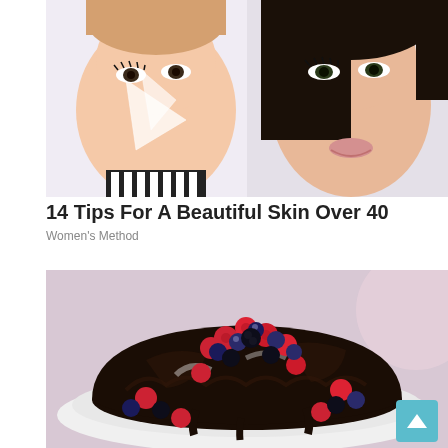[Figure (photo): Two women faces side by side: left woman with white contouring makeup applied on her face, right woman with dark hair and polished makeup, wearing black and white striped clothing]
14 Tips For A Beautiful Skin Over 40
Women's Method
[Figure (photo): A dark chocolate bundt cake covered in shiny dark chocolate glaze, decorated with fresh raspberries, blueberries, and blackberries arranged on top and around the base, served on a white plate]